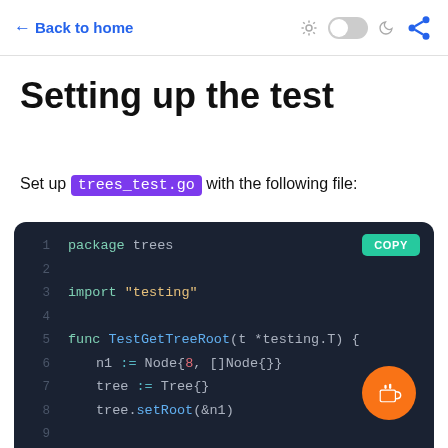← Back to home
Setting up the test
Set up trees_test.go with the following file:
[Figure (screenshot): Dark-themed code block showing Go test file with package trees, import testing, and func TestGetTreeRoot definition with node setup lines 1-8]